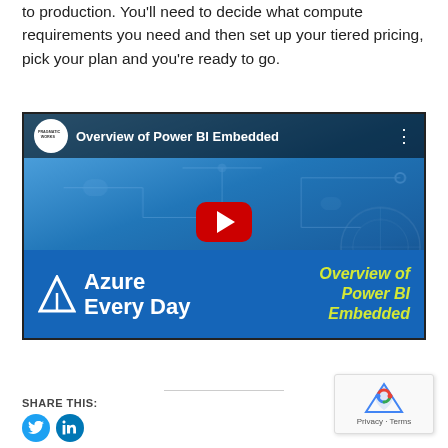to production. You'll need to decide what compute requirements you need and then set up your tiered pricing, pick your plan and you're ready to go.
[Figure (screenshot): YouTube video thumbnail for 'Overview of Power BI Embedded' from the Azure Every Day channel (Pragmatic Works). Shows a blue tech background with circuit patterns, a red YouTube play button in the center, and a bottom band with the Azure Every Day logo and the text 'Overview of Power BI Embedded' in yellow-green italic text.]
SHARE THIS: